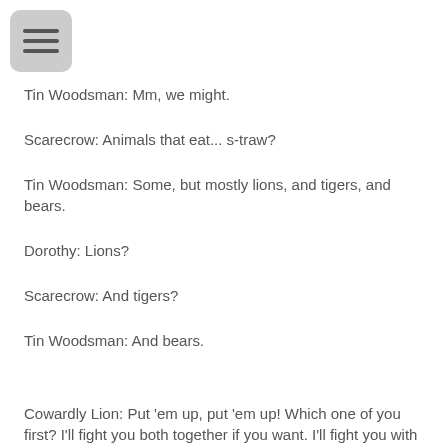[Figure (other): Hamburger menu button icon (three horizontal lines) in a rounded gray square]
Tin Woodsman: Mm, we might.
Scarecrow: Animals that eat... s-traw?
Tin Woodsman: Some, but mostly lions, and tigers, and bears.
Dorothy: Lions?
Scarecrow: And tigers?
Tin Woodsman: And bears.
Cowardly Lion: Put 'em up, put 'em up! Which one of you first? I'll fight you both together if you want. I'll fight you with one paw tied behind my back. I'll fight you standing on one foot. I'll fight